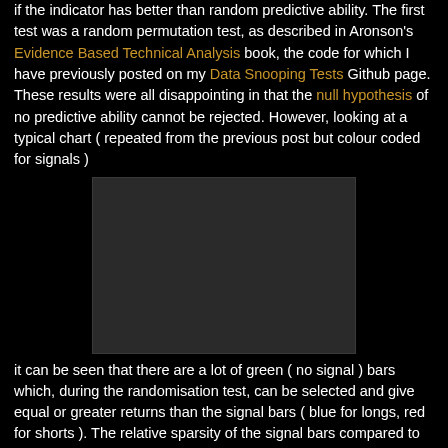if the indicator has better than random predictive ability. The first test was a random permutation test, as described in Aronson's Evidence Based Technical Analysis book, the code for which I have previously posted on my Data Snooping Tests Github page. These results were all disappointing in that the null hypothesis of no predictive ability cannot be rejected. However, looking at a typical chart ( repeated from the previous post but colour coded for signals )
[Figure (other): Dark chart placeholder image showing a financial chart colour coded for signals (green for no signal, blue for longs, red for shorts)]
it can be seen that there are a lot of green ( no signal ) bars which, during the randomisation test, can be selected and give equal or greater returns than the signal bars ( blue for longs, red for shorts ). The relative sparsity of the signal bars compared to non-signal bars gives the permutation test, in this instance, some power to detect significance — though the b